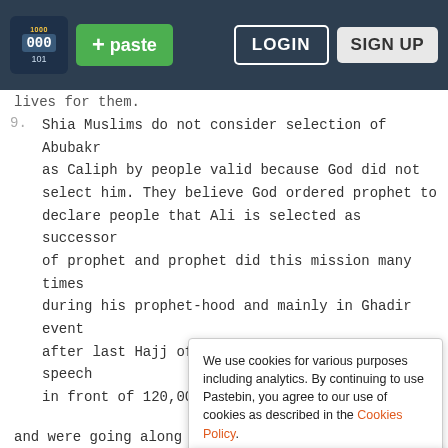Pastebin navigation bar with logo, + paste button, LOGIN and SIGN UP buttons
lives for them.
9. Shia Muslims do not consider selection of Abubakr as Caliph by people valid because God did not select him. They believe God ordered prophet to declare people that Ali is selected as successor of prophet and prophet did this mission many times during his prophet-hood and mainly in Ghadir event after last Hajj of his life at a 3-4 hour speech in front of 120,000 Muslims at Ghadir in hot de ga co Is So po th
We use cookies for various purposes including analytics. By continuing to use Pastebin, you agree to our use of cookies as described in the Cookies Policy.  OK, I Understand
Not a member of Pastebin yet?
Sign Up, it unlocks many cool features!
and were going along with prophet to hear what